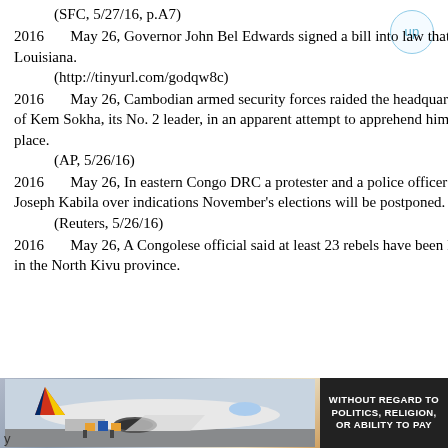(SFC, 5/27/16, p.A7)
2016      May 26, Governor John Bel Edwards signed a bill into law that expands the medical accessibility of marijuana in Louisiana.
    (http://tinyurl.com/godqw8c)
2016      May 26, Cambodian armed security forces raided the headquarters of the main opposition party and surrounded the car of Kem Sokha, its No. 2 leader, in an apparent attempt to apprehend him, but left empty-handed after not finding him in either place.
    (AP, 5/26/16)
2016      May 26, In eastern Congo DRC a protester and a police officer were killed in protests in Goma against President Joseph Kabila over indications November's elections will be postponed.
    (Reuters, 5/26/16)
2016      May 26, A Congolese official said at least 23 rebels have been killed in an operation launched in May to combat rebels in the North Kivu province.
[Figure (photo): Advertisement showing an airplane with colorful tail livery being loaded with cargo. Text overlay reads 'WITHOUT REGARD TO POLITICS, RELIGION, OR ABILITY TO PAY']